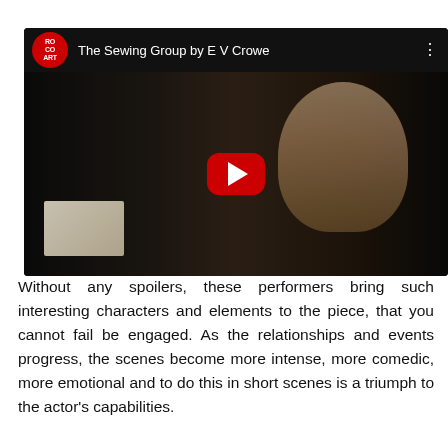[Figure (screenshot): A YouTube video embed showing 'The Sewing Group by E V Crowe' with a YouTube play button overlay. The thumbnail shows a young woman with braided hair in dark clothing against a dark background. The video header shows a red Royal Court Theatre logo circle and the video title.]
Without any spoilers, these performers bring such interesting characters and elements to the piece, that you cannot fail be engaged. As the relationships and events progress, the scenes become more intense, more comedic, more emotional and to do this in short scenes is a triumph to the actor's capabilities.